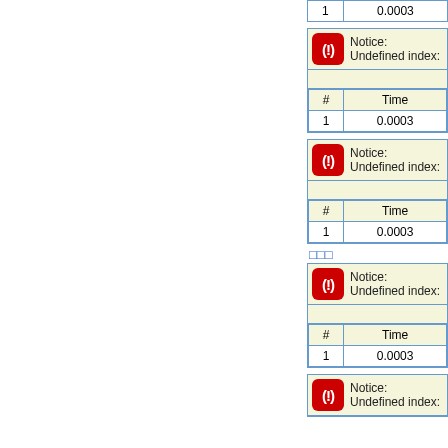| # | Time |
| --- | --- |
| 1 | 0.0003 |
| Notice: Undefined index: |
| # | Time |
| --- | --- |
| 1 | 0.0003 |
| Notice: Undefined index: |
| # | Time |
| --- | --- |
| 1 | 0.0003 |
□□□
| Notice: Undefined index: |
| # | Time |
| --- | --- |
| 1 | 0.0003 |
| Notice: Undefined index: |